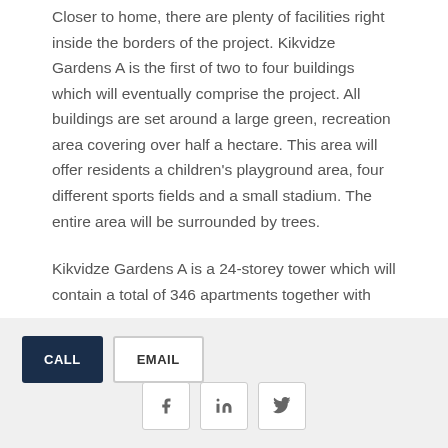Closer to home, there are plenty of facilities right inside the borders of the project. Kikvidze Gardens A is the first of two to four buildings which will eventually comprise the project. All buildings are set around a large green, recreation area covering over half a hectare. This area will offer residents a children’s playground area, four different sports fields and a small stadium. The entire area will be surrounded by trees.

Kikvidze Gardens A is a 24-storey tower which will contain a total of 346 apartments together with